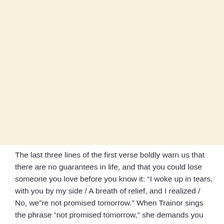[Figure (other): Blank cream/beige colored area occupying the upper portion of the page]
The last three lines of the first verse boldly warn us that there are no guarantees in life, and that you could lose someone you love before you know it: “I woke up in tears, with you by my side / A breath of relief, and I realized / No, we”re not promised tomorrow.” When Trainor sings the phrase “not promised tomorrow,” she demands you take